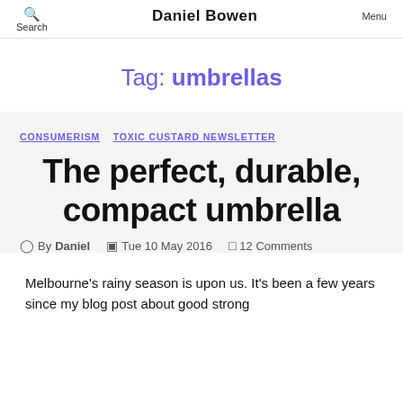Search  Daniel Bowen  Menu
Tag: umbrellas
CONSUMERISM   TOXIC CUSTARD NEWSLETTER
The perfect, durable, compact umbrella
By Daniel  Tue 10 May 2016  12 Comments
Melbourne's rainy season is upon us. It's been a few years since my blog post about good strong